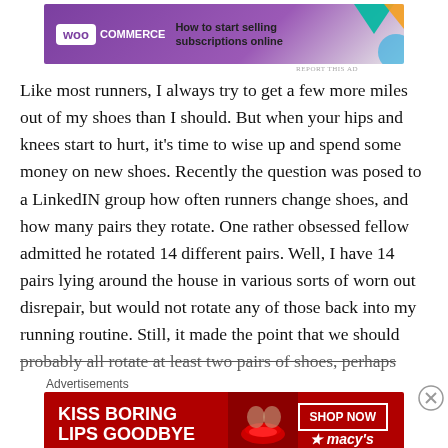[Figure (other): WooCommerce advertisement banner: purple background with WooCommerce logo, teal and orange geometric shapes, text 'How to start selling subscriptions online']
Like most runners, I always try to get a few more miles out of my shoes than I should. But when your hips and knees start to hurt, it's time to wise up and spend some money on new shoes. Recently the question was posed to a LinkedIN group how often runners change shoes, and how many pairs they rotate. One rather obsessed fellow admitted he rotated 14 different pairs. Well, I have 14 pairs lying around the house in various sorts of worn out disrepair, but would not rotate any of those back into my running routine. Still, it made the point that we should probably all rotate at least two pairs of shoes, perhaps
Advertisements
[Figure (other): Macy's advertisement banner: red background with text 'KISS BORING LIPS GOODBYE', photo of woman's face with red lips, 'SHOP NOW' button and Macy's star logo]